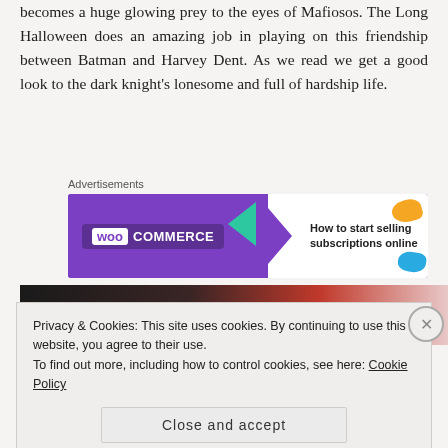becomes a huge glowing prey to the eyes of Mafiosos. The Long Halloween does an amazing job in playing on this friendship between Batman and Harvey Dent. As we read we get a good look to the dark knight's lonesome and full of hardship life.
[Figure (screenshot): WooCommerce advertisement banner: purple left side with WooCommerce logo, white right side with text 'How to start selling subscriptions online', decorative teal arrow and colored blobs.]
[Figure (photo): Partial photo strip showing dark and red tones, appears to be a comic book image.]
Privacy & Cookies: This site uses cookies. By continuing to use this website, you agree to their use.
To find out more, including how to control cookies, see here: Cookie Policy
Close and accept